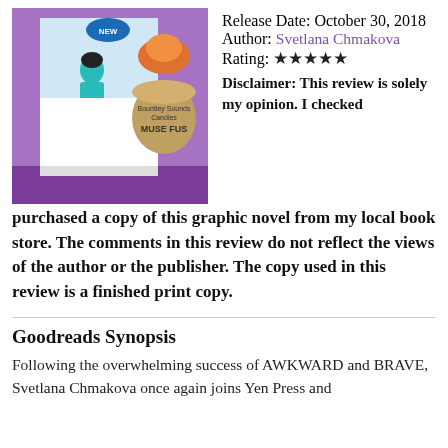[Figure (photo): Photo of a graphic novel book cover featuring a cartoon character crouching, overlaid on a purple knitted background with a candle tin labeled 'Muse Fus' (Muse Fusion).]
Release Date: October 30, 2018
Author: Svetlana Chmakova
Rating: ★★★★★
Disclaimer: This review is solely my opinion. I checked purchased a copy of this graphic novel from my local book store. The comments in this review do not reflect the views of the author or the publisher. The copy used in this review is a finished print copy.
Goodreads Synopsis
Following the overwhelming success of AWKWARD and BRAVE, Svetlana Chmakova once again joins Yen Press and...